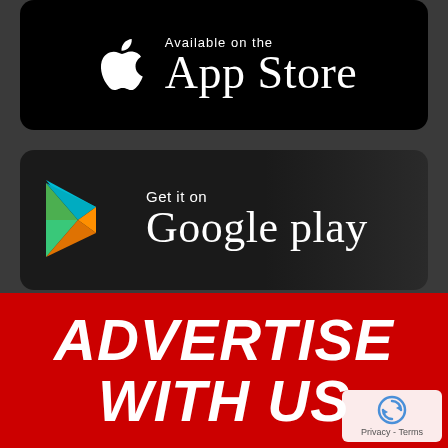[Figure (logo): Apple App Store download button — black rounded rectangle with white Apple logo on the left and 'Available on the App Store' text on the right]
[Figure (logo): Google Play download button — dark rounded rectangle with colorful Google Play triangle logo on the left and 'Get it on Google play' text on the right]
ADVERTISE WITH US
[Figure (logo): reCAPTCHA badge — small white rounded box with circular arrow icon and 'Privacy - Terms' text]